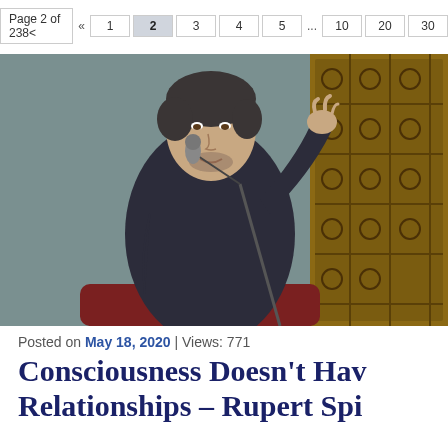Page 2 of 2386  «  1  2  3  4  5  ...  10  20  30
[Figure (photo): A man in a dark button-up shirt sitting in a chair, gesturing with his right hand toward the camera. A microphone on a stand is in front of him. The background features ornate wooden lattice paneling.]
Posted on May 18, 2020 | Views: 771
Consciousness Doesn't Have Relationships – Rupert Spi…